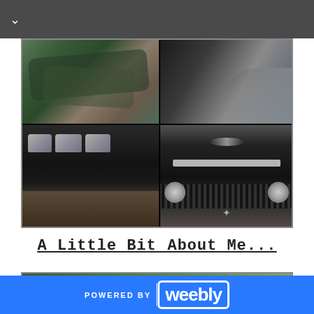[Figure (photo): Collage of four photos showing a black limousine/Hummer being wrapped or detailed: top-left shows green tarp/wrap material, top-right shows dark corner material, bottom-left shows side view of a black stretched limousine with windows, bottom-right shows front view of a black Hummer H3 with grille lights visible.]
A Little Bit About Me...
[Figure (photo): Partial view of a green outdoor scene, cropped at bottom of frame.]
POWERED BY weebly